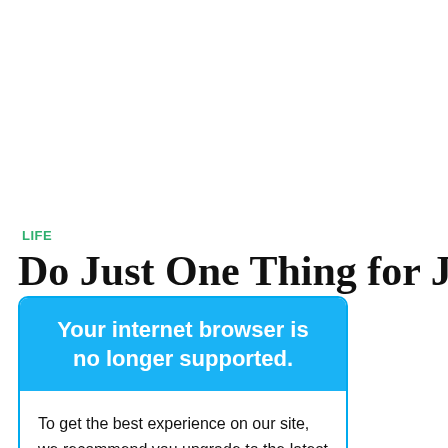LIFE
Do Just One Thing for July 21,
Your internet browser is no longer supported.
To get the best experience on our site, we recommend you upgrade to the latest version.